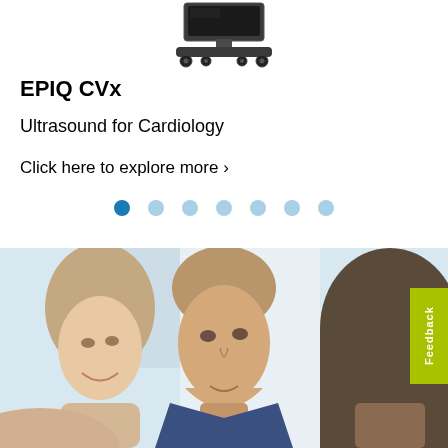[Figure (photo): EPIQ CVx ultrasound machine on wheels, top portion visible against white background]
EPIQ CVx
Ultrasound for Cardiology
Click here to explore more ›
[Figure (other): Carousel navigation dots: one solid blue dot (active) followed by six lighter blue dots]
[Figure (photo): Three people in professional attire conversing: a woman with pulled-back hair smiling on the left, a man in a blue suit in the center, and the back of another person's head on the right. Light, airy background.]